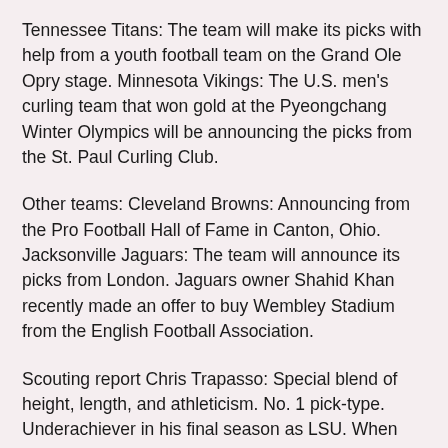Tennessee Titans: The team will make its picks with help from a youth football team on the Grand Ole Opry stage. Minnesota Vikings: The U.S. men's curling team that won gold at the Pyeongchang Winter Olympics will be announcing the picks from the St. Paul Curling Club.
Other teams: Cleveland Browns: Announcing from the Pro Football Hall of Fame in Canton, Ohio. Jacksonville Jaguars: The team will announce its picks from London. Jaguars owner Shahid Khan recently made an offer to buy Wembley Stadium from the English Football Association.
Scouting report Chris Trapasso: Special blend of height, length, and athleticism. No. 1 pick-type. Underachiever in his final season as LSU. When he's in rhythm, he Cheap Hockey Jerseys Custom looks like 15-sack-per-season player. Times in which he looks that dominant mainly came in 2016. Could stand to add more weight